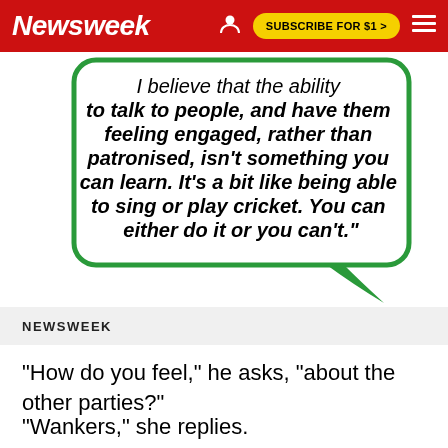Newsweek  SUBSCRIBE FOR $1 >
[Figure (illustration): A green speech bubble (rounded rectangle with a downward-pointing arrow tail at bottom-right) containing bold italic text: 'I believe that the ability to talk to people, and have them feeling engaged, rather than patronised, isn't something you can learn. It's a bit like being able to sing or play cricket. You can either do it or you can't.']
NEWSWEEK
"How do you feel," he asks, "about the other parties?"
"Wankers," she replies.